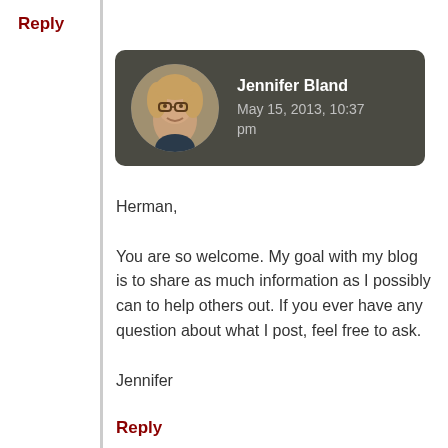Reply
[Figure (other): Comment block with circular avatar photo of Jennifer Bland (woman with short blonde hair and glasses), name 'Jennifer Bland', date 'May 15, 2013, 10:37 pm' on dark grey rounded background]
Herman,

You are so welcome. My goal with my blog is to share as much information as I possibly can to help others out. If you ever have any question about what I post, feel free to ask.

Jennifer
Reply